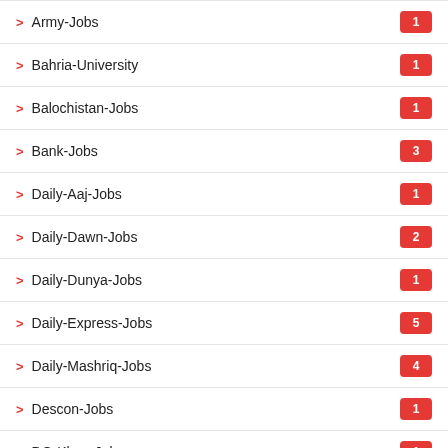> Army-Jobs
> Bahria-University
> Balochistan-Jobs
> Bank-Jobs
> Daily-Aaj-Jobs
> Daily-Dawn-Jobs
> Daily-Dunya-Jobs
> Daily-Express-Jobs
> Daily-Mashriq-Jobs
> Descon-Jobs
> DG-Khan-Jobs
> DGPR-Jobs
> Dubai-Jobs
> Faisalabad-Jobs